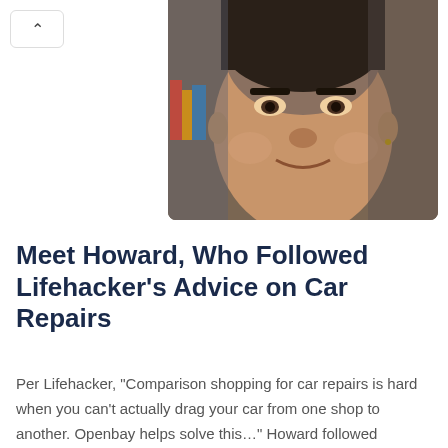[Figure (photo): Close-up photo of a smiling young man with short dark hair, light brown skin, positioned at the top right of the page.]
Meet Howard, Who Followed Lifehacker's Advice on Car Repairs
Per Lifehacker, “Comparison shopping for car repairs is hard when you can’t actually drag your car from one shop to another. Openbay helps solve this…” Howard followed Lifehacker’s advice on car repairs and booked service for his